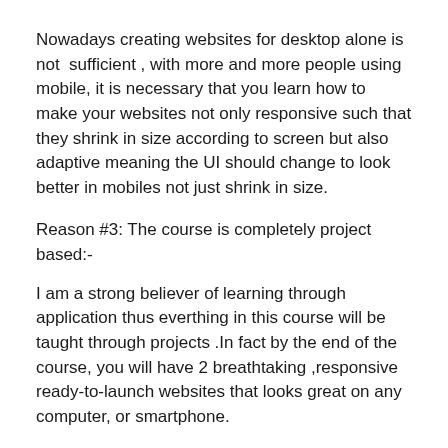Nowadays creating websites for desktop alone is not  sufficient , with more and more people using mobile, it is necessary that you learn how to make your websites not only responsive such that they shrink in size according to screen but also adaptive meaning the UI should change to look better in mobiles not just shrink in size.
Reason #3: The course is completely project based:-
I am a strong believer of learning through application thus everthing in this course will be taught through projects .In fact by the end of the course, you will have 2 breathtaking ,responsive ready-to-launch websites that looks great on any computer, or smartphone.
Reason #4: The course is based on the Pareto Principle(80/20 rule):-
More often than not I see instructors overburdening people with information ,which they most likely wont require and this unnecessary efforts stalls their progress. So I follow the 80/20